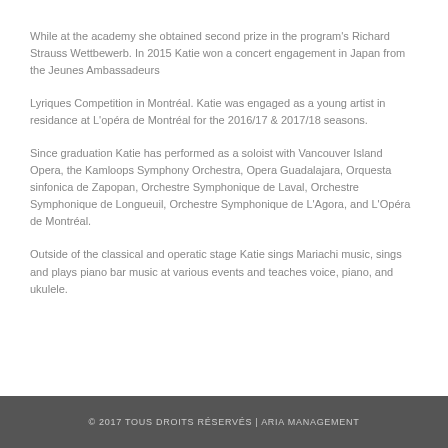While at the academy she obtained second prize in the program's Richard Strauss Wettbewerb. In 2015 Katie won a concert engagement in Japan from the Jeunes Ambassadeurs
Lyriques Competition in Montréal. Katie was engaged as a young artist in residance at L'opéra de Montréal for the 2016/17 & 2017/18 seasons.
Since graduation Katie has performed as a soloist with Vancouver Island Opera, the Kamloops Symphony Orchestra, Opera Guadalajara, Orquesta sinfonica de Zapopan, Orchestre Symphonique de Laval, Orchestre Symphonique de Longueuil, Orchestre Symphonique de L'Agora, and L'Opéra de Montréal.
Outside of the classical and operatic stage Katie sings Mariachi music, sings and plays piano bar music at various events and teaches voice, piano, and ukulele.
© 2017 TOUS DROITS RÉSERVÉS | ARIA MANAGEMENT